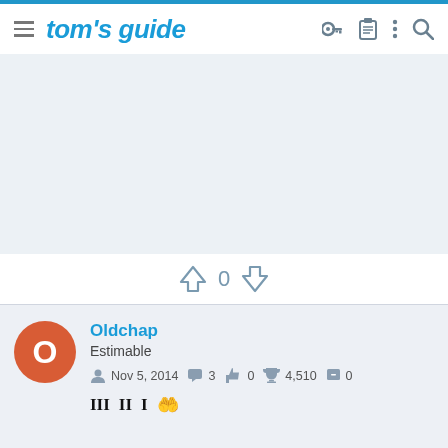tom's guide
[Figure (other): Light blue/grey advertisement placeholder area]
↑ 0 ↓
Oldchap
Estimable
Nov 5, 2014  3  0  4,510  0